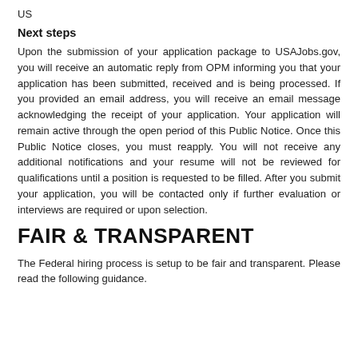US
Next steps
Upon the submission of your application package to USAJobs.gov, you will receive an automatic reply from OPM informing you that your application has been submitted, received and is being processed. If you provided an email address, you will receive an email message acknowledging the receipt of your application. Your application will remain active through the open period of this Public Notice. Once this Public Notice closes, you must reapply. You will not receive any additional notifications and your resume will not be reviewed for qualifications until a position is requested to be filled. After you submit your application, you will be contacted only if further evaluation or interviews are required or upon selection.
FAIR & TRANSPARENT
The Federal hiring process is setup to be fair and transparent. Please read the following guidance.